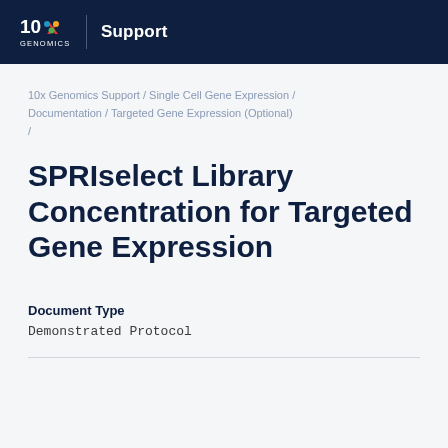10x Genomics Support
10x Genomics Support / Single Cell Gene Expression / Documentation / Targeted Gene Expression (Optional) /
SPRIselect Library Concentration for Targeted Gene Expression
Document Type
Demonstrated Protocol